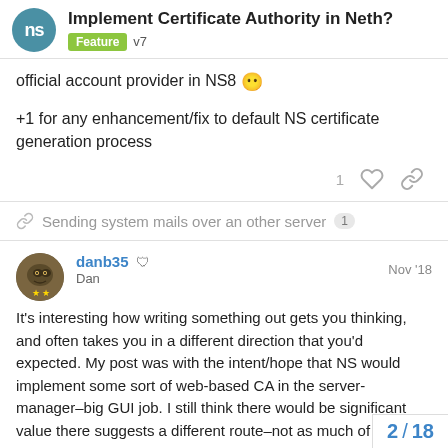Implement Certificate Authority in Neth? Feature v7
official account provider in NS8 😶
+1 for any enhancement/fix to default NS certificate generation process
🔗 Sending system mails over an other server 1
danb35 🛡 Dan Nov '18
It's interesting how writing something out gets you thinking, and often takes you in a different direction that you'd expected. My post was with the intent/hope that NS would implement some sort of web-based CA in the server-manager–big GUI job. I still think there would be significant value there suggests a different route–not as much of